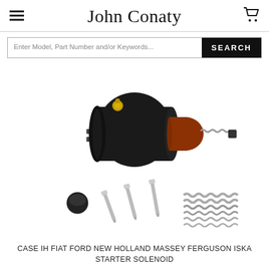John Conaty
[Figure (screenshot): Search bar with placeholder text 'Enter Model, Part Number and/or Keywords...' and a black SEARCH button]
[Figure (photo): Product photo showing a starter solenoid (black cylindrical body with red/brown end cap, brass terminal, spring, and screws kit components laid out below)]
CASE IH FIAT FORD NEW HOLLAND MASSEY FERGUSON ISKA STARTER SOLENOID